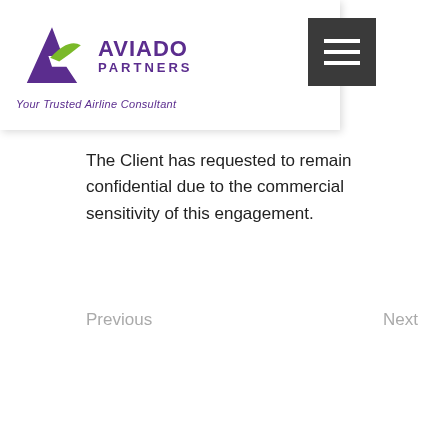AVIADO PARTNERS — Your Trusted Airline Consultant
The Client has requested to remain confidential due to the commercial sensitivity of this engagement.
Previous    Next